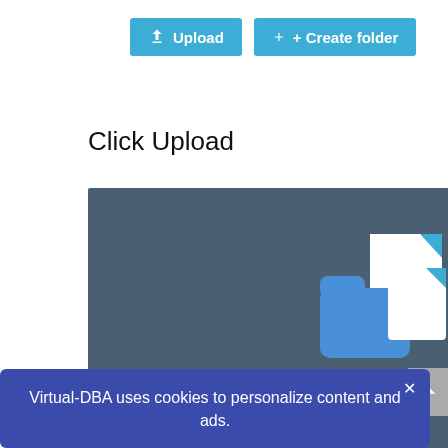[Figure (screenshot): Toolbar with 'Upload' and 'Create folder' blue buttons]
Click Upload
[Figure (illustration): Dark blue-grey drag-and-drop zone with folder and file icons, text 'Drag and drop files and folders here']
Virtual-DBA uses cookies to personalize content and ads.